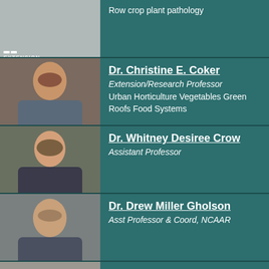[Figure (photo): Partial first card with Extension logo placeholder and Row crop plant pathology text]
Row crop plant pathology
[Figure (photo): Headshot of Dr. Christine E. Coker]
Dr. Christine E. Coker
Extension/Research Professor
Urban Horticulture Vegetables Green Roofs Food Systems
[Figure (photo): Headshot of Dr. Whitney Desiree Crow]
Dr. Whitney Desiree Crow
Assistant Professor
[Figure (photo): Headshot of Dr. Drew Miller Gholson]
Dr. Drew Miller Gholson
Asst Professor & Coord, NCAAR
[Figure (photo): Headshot of Dr. Alan Henn]
Dr. Alan Henn
Extension Professor
Extension Plant Pathologist, Disease management of ornamentals,peanut, turf,fruits, nematode program